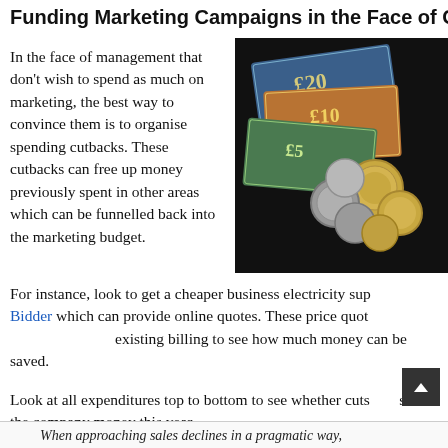Funding Marketing Campaigns in the Face of Cutbacks
In the face of management that don't wish to spend as much on marketing, the best way to convince them is to organise spending cutbacks. These cutbacks can free up money previously spent in other areas which can be funnelled back into the marketing budget.
[Figure (photo): Photo of British currency — £20, £10, £5 banknotes with coins on dark background]
For instance, look to get a cheaper business electricity supplier like Bidder which can provide online quotes. These price quotes compare against existing billing to see how much money can be saved.
Look at all expenditures top to bottom to see whether cuts can save the company money this year.
When approaching sales declines in a pragmatic way,